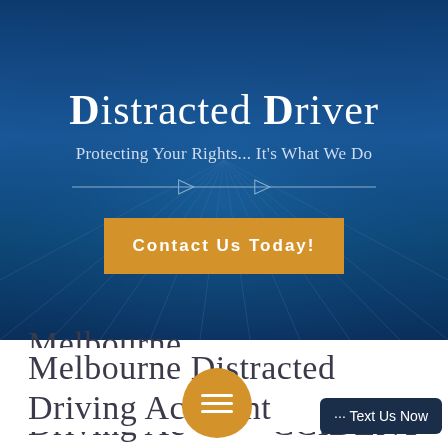[Figure (photo): Hero banner with dark blue background featuring road/highway perspective lines radiating outward, with legal services branding]
Distracted Driver
Protecting Your Rights... It's What We Do
Contact Us Today!
Melbourne Distracted Driving Accident